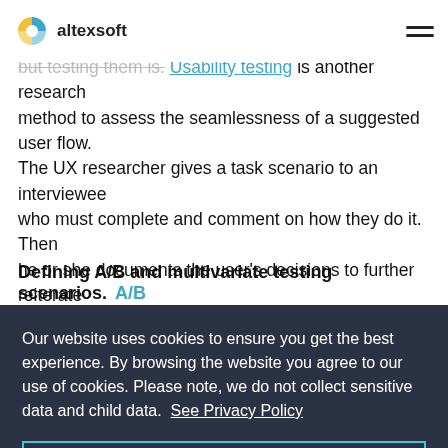altexsoft
product. Prototypes aren't the UX researcher's responsibility but testing them is. Usability testing is another research method to assess the seamlessness of a suggested user flow. The UX researcher gives a task scenario to an interviewee who must complete and comment on how they do it. Then he or she documents the user's decisions to further reiterate the prototype and remove any possible hiccups.
Defining A/B and multivariate testing scenarios. A/B
Our website uses cookies to ensure you get the best experience. By browsing the website you agree to our use of cookies. Please note, we do not collect sensitive data and child data. See Privacy Policy
Ok! Don't show it again